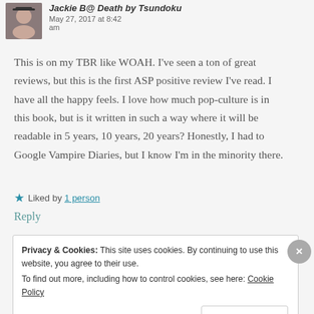Jackie B@ Death by Tsundoku — May 27, 2017 at 8:42 am
This is on my TBR like WOAH. I've seen a ton of great reviews, but this is the first ASP positive review I've read. I have all the happy feels. I love how much pop-culture is in this book, but is it written in such a way where it will be readable in 5 years, 10 years, 20 years? Honestly, I had to Google Vampire Diaries, but I know I'm in the minority there.
★ Liked by 1 person
Reply
Privacy & Cookies: This site uses cookies. By continuing to use this website, you agree to their use. To find out more, including how to control cookies, see here: Cookie Policy
Close and accept